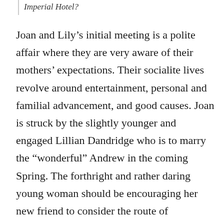Imperial Hotel?
Joan and Lily’s initial meeting is a polite affair where they are very aware of their mothers’ expectations. Their socialite lives revolve around entertainment, personal and familial advancement, and good causes. Joan is struck by the slightly younger and engaged Lillian Dandridge who is to marry the “wonderful” Andrew in the coming Spring. The forthright and rather daring young woman should be encouraging her new friend to consider the route of matrimony more seriously, but their rapidly deepening friendship becomes a